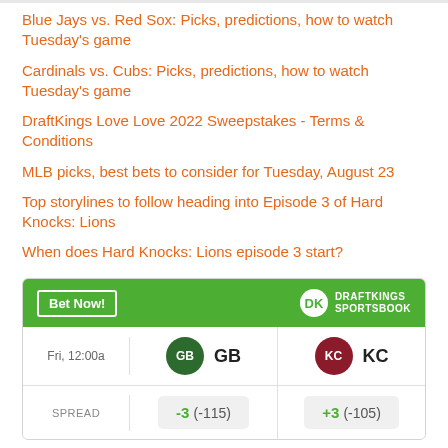Blue Jays vs. Red Sox: Picks, predictions, how to watch Tuesday's game
Cardinals vs. Cubs: Picks, predictions, how to watch Tuesday's game
DraftKings Love Love 2022 Sweepstakes - Terms & Conditions
MLB picks, best bets to consider for Tuesday, August 23
Top storylines to follow heading into Episode 3 of Hard Knocks: Lions
When does Hard Knocks: Lions episode 3 start?
|  | GB | KC |
| --- | --- | --- |
| Fri, 12:00a | GB | KC |
| SPREAD | -3 (-115) | +3 (-105) |